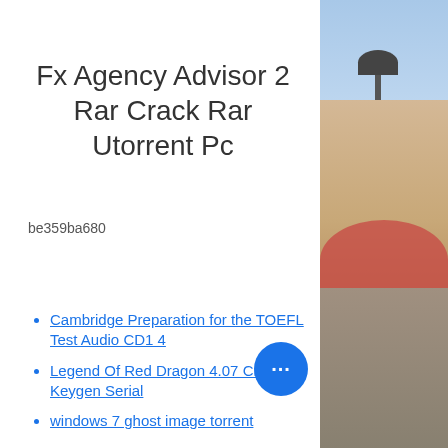Fx Agency Advisor 2 Rar Crack Rar Utorrent Pc
be359ba680
Cambridge Preparation for the TOEFL Test Audio CD1 4
Legend Of Red Dragon 4.07 Crack Keygen Serial
windows 7 ghost image torrent
[Figure (photo): Street scene photo showing a lamp post, tiled roof building with red flowers and a European-style street setting, visible on the right panel of the page.]